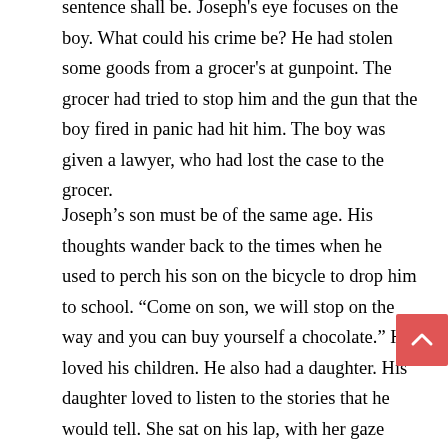sentence shall be. Joseph's eye focuses on the boy. What could his crime be? He had stolen some goods from a grocer's at gunpoint. The grocer had tried to stop him and the gun that the boy fired in panic had hit him. The boy was given a lawyer, who had lost the case to the grocer.
Joseph's son must be of the same age. His thoughts wander back to the times when he used to perch his son on the bicycle to drop him to school. “Come on son, we will stop on the way and you can buy yourself a chocolate.” He loved his children. He also had a daughter. His daughter loved to listen to the stories that he would tell. She sat on his lap, with her gaze fixed on him, devouring every word of the story, he uttered. As he reflected on the past, he felt his heart sink. But did it sink? The prison had really hardened him; hardened a man who was capable of being passionate to the letter E. and how did this come about?